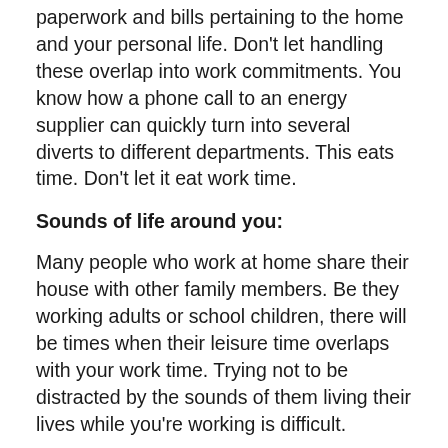paperwork and bills pertaining to the home and your personal life. Don't let handling these overlap into work commitments. You know how a phone call to an energy supplier can quickly turn into several diverts to different departments. This eats time. Don't let it eat work time.
Sounds of life around you:
Many people who work at home share their house with other family members. Be they working adults or school children, there will be times when their leisure time overlaps with your work time. Trying not to be distracted by the sounds of them living their lives while you're working is difficult.